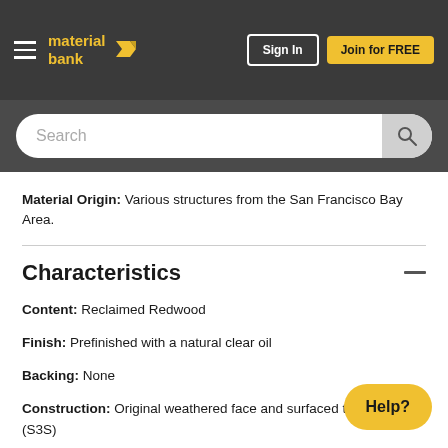[Figure (logo): Material Bank logo with hamburger menu, Sign In button, and Join for FREE button on dark header bar]
[Figure (screenshot): Search bar with placeholder text 'Search' and search icon button]
Material Origin: Various structures from the San Francisco Bay Area.
Characteristics
Content: Reclaimed Redwood
Finish: Prefinished with a natural clear oil
Backing: None
Construction: Original weathered face and surfaced three sides (S3S)
Species (Latin Name): Sequoia sempervirens